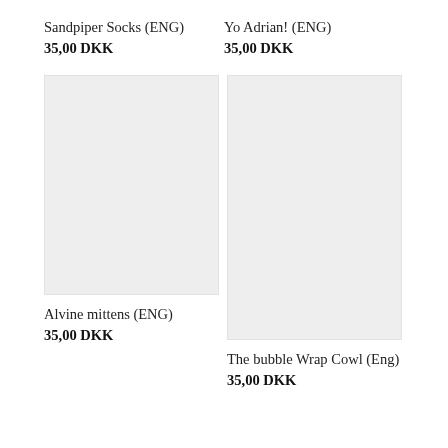Sandpiper Socks (ENG)
35,00 DKK
Yo Adrian! (ENG)
35,00 DKK
[Figure (photo): Product image placeholder for Alvine mittens (ENG) – light grey square]
Alvine mittens (ENG)
35,00 DKK
[Figure (photo): Product image placeholder for The bubble Wrap Cowl (Eng) – light grey tall rectangle]
The bubble Wrap Cowl (Eng)
35,00 DKK